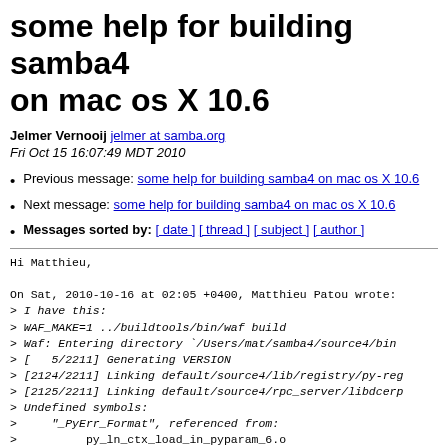some help for building samba4 on mac os X 10.6
Jelmer Vernooij jelmer at samba.org
Fri Oct 15 16:07:49 MDT 2010
Previous message: some help for building samba4 on mac os X 10.6
Next message: some help for building samba4 on mac os X 10.6
Messages sorted by: [ date ] [ thread ] [ subject ] [ author ]
Hi Matthieu,

On Sat, 2010-10-16 at 02:05 +0400, Matthieu Patou wrote:
> I have this:
> WAF_MAKE=1 ../buildtools/bin/waf build
> Waf: Entering directory `/Users/mat/samba4/source4/bin
> [   5/2211] Generating VERSION
> [2124/2211] Linking default/source4/lib/registry/py-re
> [2125/2211] Linking default/source4/rpc_server/libdcerp
> Undefined symbols:
>     "_PyErr_Format", referenced from:
>          py_ln_ctx_load_in_pyparam_6.o